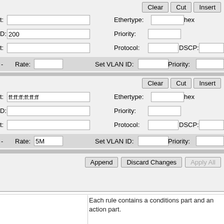[Figure (screenshot): Network rule editor UI with two rule panels, each containing fields for Ethertype, Priority, Protocol, DSCP, Rate, Set VLAN ID. First rule has VLAN ID 200. Second rule has MAC address ff:ff:ff:ff:ff:ff and Rate 5M. Buttons: Clear, Cut, Insert per panel. Bottom row: Append, Discard Changes, Apply All.]
Each rule contains a conditions part and an action part.